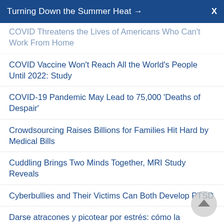Turning Down the Summer Heat →  X
COVID Threatens the Lives of Americans Who Can't Work From Home
COVID Vaccine Won't Reach All the World's People Until 2022: Study
COVID-19 Pandemic May Lead to 75,000 'Deaths of Despair'
Crowdsourcing Raises Billions for Families Hit Hard by Medical Bills
Cuddling Brings Two Minds Together, MRI Study Reveals
Cyberbullies and Their Victims Can Both Develop PTSD
Darse atracones y picotear por estrés: cómo la pandemia está cambiando los hábitos de alimentación
Dating on V-Day? Why Some Are Better at a Good...